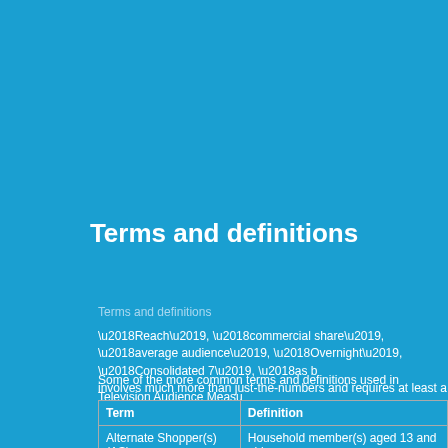Terms and definitions
Terms and definitions
‘Reach’, ‘commercial share’, ‘average audience’, ‘Overnight’, ‘Consolidated 7’, ‘as b involves much more than just-the-numbers and requires at least a basic understanding
Some of the more common terms and definitions used in Television Audience Measu
| Term | Definition |
| --- | --- |
| Alternate Shopper(s) (AS) | Household member(s) aged 13 and olde who contribute to (but are not primo |